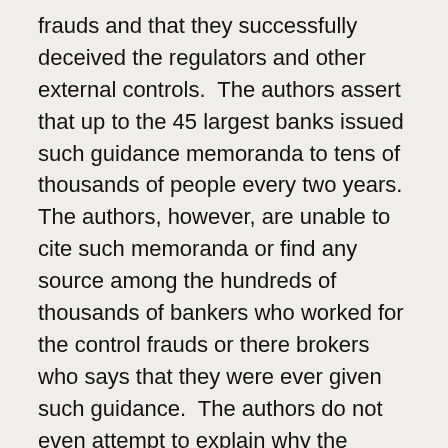frauds and that they successfully deceived the regulators and other external controls.  The authors assert that up to the 45 largest banks issued such guidance memoranda to tens of thousands of people every two years.  The authors, however, are unable to cite such memoranda or find any source among the hundreds of thousands of bankers who worked for the control frauds or there brokers who says that they were ever given such guidance.  The authors do not even attempt to explain why the senior bank officers made bad loans and engaged in deception rather than make the “safe and sound” loans that the CRA encourages.
Contrary to the authors’ claims, they do not prove causality and their model is inherently incapable of proving causality.  They have picked lags and leads not pursuant to any theory, but only after seeing the observed